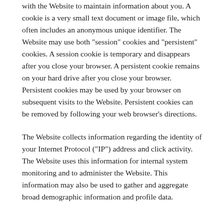with the Website to maintain information about you. A cookie is a very small text document or image file, which often includes an anonymous unique identifier. The Website may use both "session" cookies and "persistent" cookies. A session cookie is temporary and disappears after you close your browser. A persistent cookie remains on your hard drive after you close your browser. Persistent cookies may be used by your browser on subsequent visits to the Website. Persistent cookies can be removed by following your web browser's directions.
The Website collects information regarding the identity of your Internet Protocol ("IP") address and click activity. The Website uses this information for internal system monitoring and to administer the Website. This information may also be used to gather and aggregate broad demographic information and profile data.